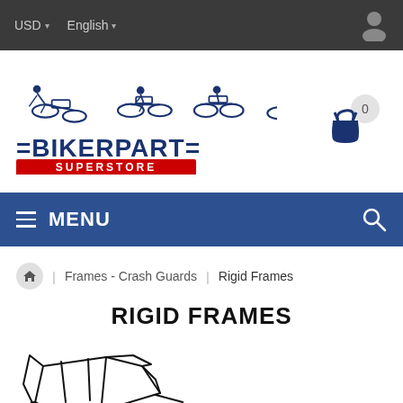USD  English
[Figure (logo): BikerPart Superstore logo with motorcycle silhouettes and shopping cart with 0 items]
MENU
Home / Frames - Crash Guards / Rigid Frames
RIGID FRAMES
[Figure (photo): Motorcycle rigid frame product image, black line drawing on white background]